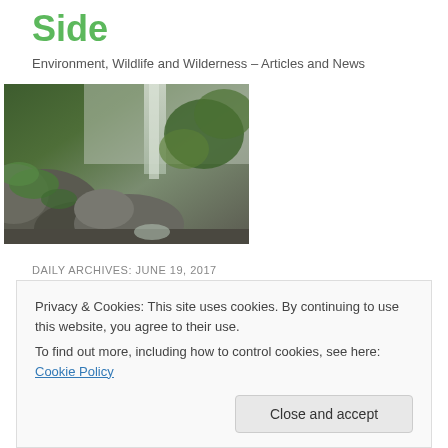Side
Environment, Wildlife and Wilderness – Articles and News
[Figure (photo): A nature scene showing rocks, moss, green vegetation and a waterfall in the background]
DAILY ARCHIVES: JUNE 19, 2017
Full response from the Climate Council for an article on
Privacy & Cookies: This site uses cookies. By continuing to use this website, you agree to their use.
To find out more, including how to control cookies, see here: Cookie Policy